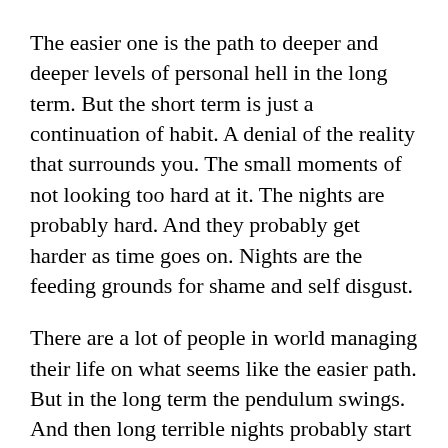The easier one is the path to deeper and deeper levels of personal hell in the long term.  But the short term is just a continuation of habit.  A denial of the reality that surrounds you.  The small moments of not looking too hard at it. The nights are probably hard.  And they probably get harder as time goes on.  Nights are the feeding grounds for shame and self disgust.
There are a lot of people in world managing their life on what seems like the easier path.  But in the long term the pendulum swings.  And then long terrible nights probably start to stretch into the days.
That seems like a small almost just end to a slave owner.  It annoys me that a religion would offer any palliative from that on a deathbed in the form of